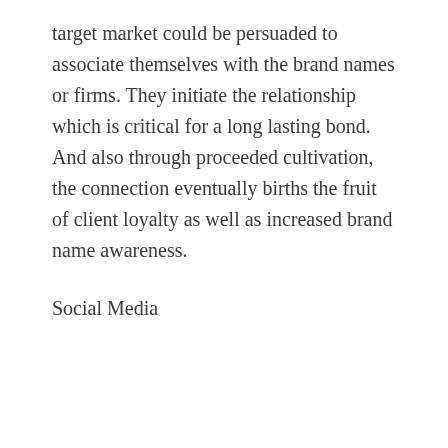target market could be persuaded to associate themselves with the brand names or firms. They initiate the relationship which is critical for a long lasting bond. And also through proceeded cultivation, the connection eventually births the fruit of client loyalty as well as increased brand name awareness.
Social Media